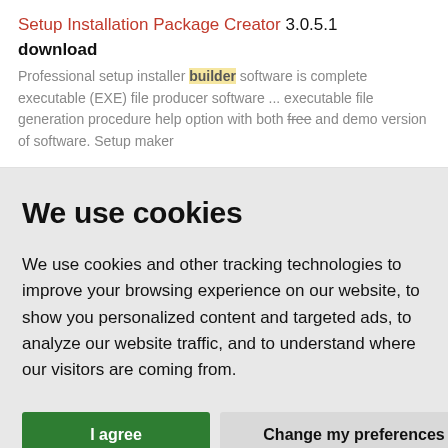Setup Installation Package Creator 3.0.5.1 download
Professional setup installer builder software is complete executable (EXE) file producer software ... executable file generation procedure help option with both free and demo version of software. Setup maker
We use cookies
We use cookies and other tracking technologies to improve your browsing experience on our website, to show you personalized content and targeted ads, to analyze our website traffic, and to understand where our visitors are coming from.
I agree | Change my preferences